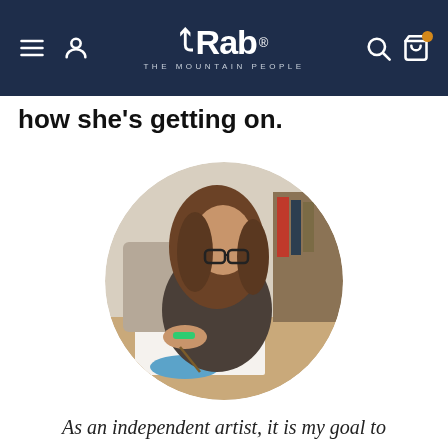Rab — THE MOUNTAIN PEOPLE
how she's getting on.
[Figure (photo): Circular cropped photo of a woman with long brown hair and glasses, leaning over a desk and painting or drawing. She is wearing a dark top and a colorful beaded bracelet. Art supplies and books are visible in the background.]
As an independent artist, it is my goal to